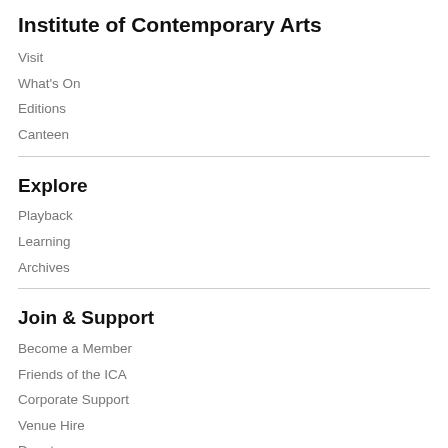Institute of Contemporary Arts
Visit
What's On
Editions
Canteen
Explore
Playback
Learning
Archives
Join & Support
Become a Member
Friends of the ICA
Corporate Support
Venue Hire
Donate
Sign Up